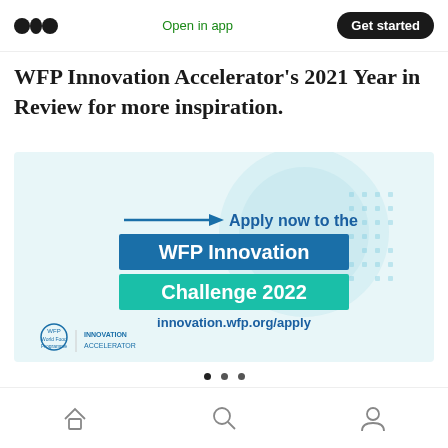Open in app | Get started
WFP Innovation Accelerator's 2021 Year in Review for more inspiration.
[Figure (illustration): WFP Innovation Challenge 2022 promotional banner showing a globe graphic with text: 'Apply now to the WFP Innovation Challenge 2022 innovation.wfp.org/apply' and WFP World Food Programme Innovation Accelerator logo at bottom left.]
Navigation bar with home, search, and profile icons